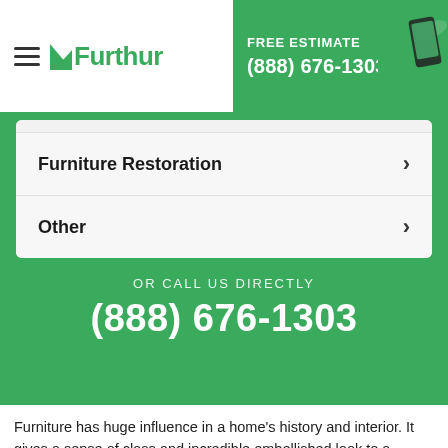Furthur | FREE ESTIMATE (888) 676-1303
Furniture Restoration
Other
OR CALL US DIRECTLY
(888) 676-1303
Furniture has huge influence in a home's history and interior. It gives a sense of class and incredible embellished look to a house. Whether it is a seat, classical dresser, or a wooden desk, it is totally undisputable that furniture assumes a vital part in a home. Whatever reason it serves in your family, it is necessary that your furniture, even the smallest one, get the best possible attention and care that it needs. Furniture is no exception when